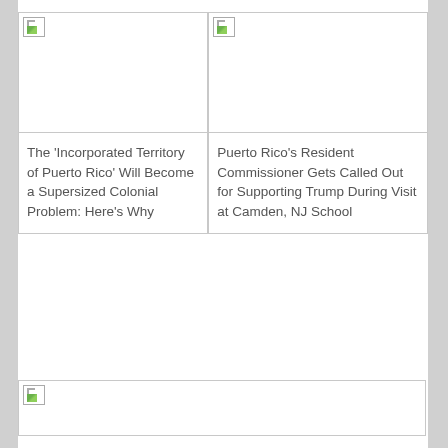[Figure (photo): Broken image placeholder for article about Incorporated Territory of Puerto Rico]
The ‘Incorporated Territory of Puerto Rico’ Will Become a Supersized Colonial Problem: Here’s Why
[Figure (photo): Broken image placeholder for article about Puerto Rico's Resident Commissioner]
Puerto Rico’s Resident Commissioner Gets Called Out for Supporting Trump During Visit at Camden, NJ School
[Figure (photo): Broken image placeholder for third article at bottom of page]